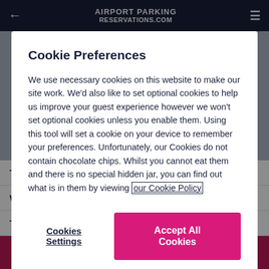[Figure (screenshot): Airport Parking Reservations website header with dark navy navigation bar, back arrow, logo, and hamburger menu]
Cookie Preferences
We use necessary cookies on this website to make our site work. We'd also like to set optional cookies to help us improve your guest experience however we won't set optional cookies unless you enable them. Using this tool will set a cookie on your device to remember your preferences. Unfortunately, our Cookies do not contain chocolate chips. Whilst you cannot eat them and there is no special hidden jar, you can find out what is in them by viewing our Cookie Policy
Cookies Settings
Accept All Cookies
|  |  |  |
| --- | --- | --- |
| Tuesday | 8:00 AM | 9:30 PM |
| Wednesday | 8:00 AM | 9:30 PM |
| Thursday | 8:00 AM | 9:30 PM |
SELECT DATES